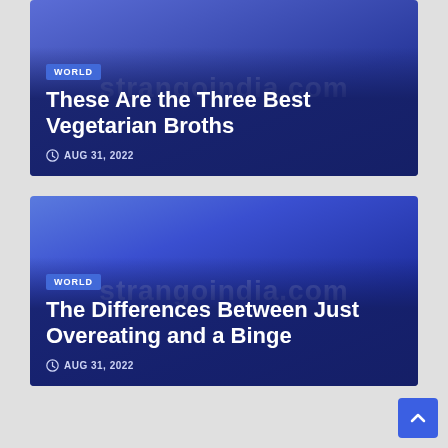[Figure (screenshot): Article card with purple-blue gradient background, WORLD badge, title 'These Are the Three Best Vegetarian Broths', date AUG 31, 2022, and watermark text 'strangoindia.com']
[Figure (screenshot): Article card with blue gradient background, WORLD badge, title 'The Differences Between Just Overeating and a Binge', date AUG 31, 2022, and watermark text 'strangoindia.com']